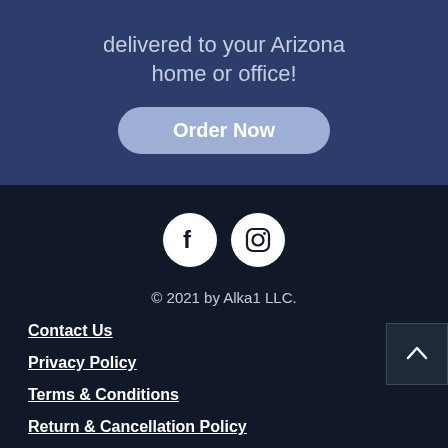delivered to your Arizona home or office!
Order Now
[Figure (logo): Facebook and Instagram social media icons (white circles with f and camera icons)]
© 2021 by Alka1 LLC.
Contact Us
Privacy Policy
Terms & Conditions
Return & Cancellation Policy